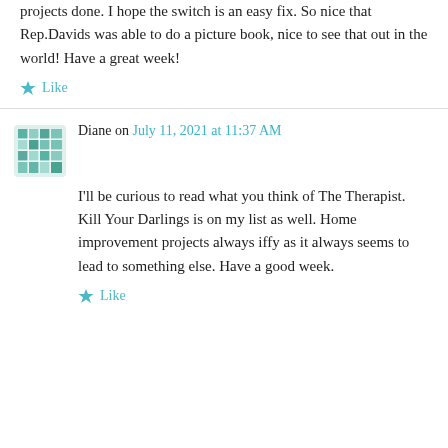projects done. I hope the switch is an easy fix. So nice that Rep.Davids was able to do a picture book, nice to see that out in the world! Have a great week!
★ Like
Diane on July 11, 2021 at 11:37 AM
I'll be curious to read what you think of The Therapist. Kill Your Darlings is on my list as well. Home improvement projects always iffy as it always seems to lead to something else. Have a good week.
★ Like